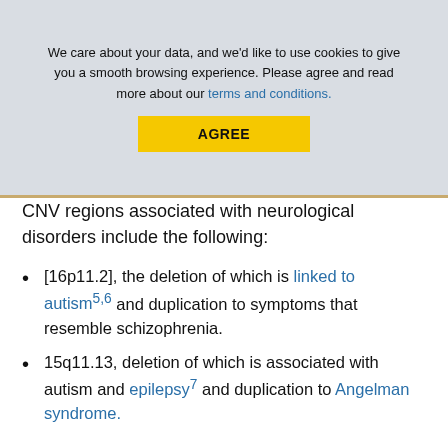[Figure (screenshot): Cookie consent banner overlay with text 'We care about your data, and we'd like to use cookies to give you a smooth browsing experience. Please agree and read more about our terms and conditions.' and a yellow AGREE button. Behind it, a greyed-out 'Browse the' heading is partially visible.]
CNV regions associated with neurological disorders include the following:
[16p11.2], the deletion of which is linked to autism5,6 and duplication to symptoms that resemble schizophrenia.
15q11.13, deletion of which is associated with autism and epilepsy7 and duplication to Angelman syndrome.